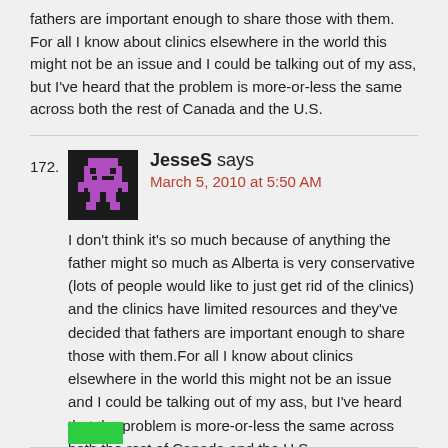fathers are important enough to share those with them. For all I know about clinics elsewhere in the world this might not be an issue and I could be talking out of my ass, but I've heard that the problem is more-or-less the same across both the rest of Canada and the U.S.
172. JesseS says
March 5, 2010 at 5:50 AM
I don't think it's so much because of anything the father might so much as Alberta is very conservative (lots of people would like to just get rid of the clinics) and the clinics have limited resources and they've decided that fathers are important enough to share those with them.For all I know about clinics elsewhere in the world this might not be an issue and I could be talking out of my ass, but I've heard that the problem is more-or-less the same across both the rest of Canada and the U.S.